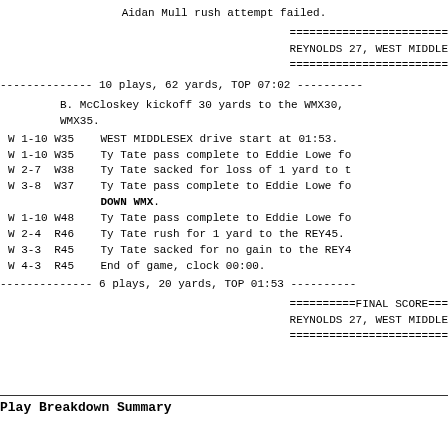Aidan Mull rush attempt failed.
========================
REYNOLDS 27, WEST MIDDLE
========================
-------------- 10 plays, 62 yards, TOP 07:02 ----------
B. McCloskey kickoff 30 yards to the WMX30, WMX35.
W 1-10 W35    WEST MIDDLESEX drive start at 01:53.
W 1-10 W35    Ty Tate pass complete to Eddie Lowe fo
W 2-7  W38    Ty Tate sacked for loss of 1 yard to t
W 3-8  W37    Ty Tate pass complete to Eddie Lowe fo
              DOWN WMX.
W 1-10 W48    Ty Tate pass complete to Eddie Lowe fo
W 2-4  R46    Ty Tate rush for 1 yard to the REY45.
W 3-3  R45    Ty Tate sacked for no gain to the REY4
W 4-3  R45    End of game, clock 00:00.
-------------- 6 plays, 20 yards, TOP 01:53 ----------
==========FINAL SCORE===
REYNOLDS 27, WEST MIDDLE
========================
Play Breakdown Summary